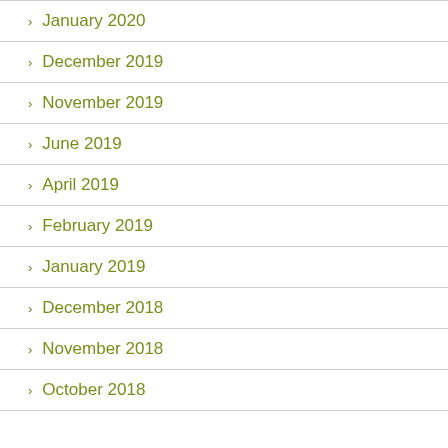January 2020
December 2019
November 2019
June 2019
April 2019
February 2019
January 2019
December 2018
November 2018
October 2018